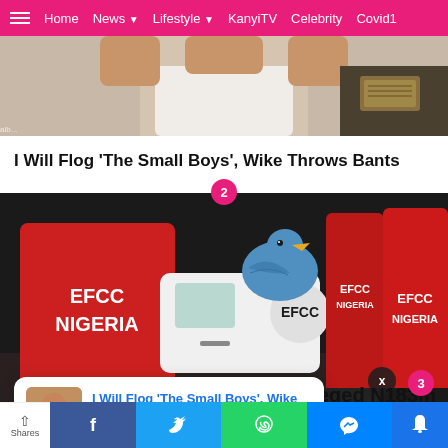Home | News | Lifestyle | KanyiTV | Celebrity | Covid1
[Figure (photo): Top portion of a person in white shirt, partially visible, cropped news article photo]
I Will Flog ‘The Small Boys’, Wike Throws Bants
[Figure (photo): EFCC Nigeria officers in red vests with 'EFCC NIGERIA' text on their backs, standing near a white vehicle with EFCC logo, with a bird (turkey/vulture) visible in the middle]
eged N183m
[Figure (photo): Notification popup card showing thumbnail of a man in white shirt with article title 'I Will Flog The Small Boys, Wike Throws Bants' and timestamp '8 hours ago']
Shares | Facebook | Twitter | WhatsApp | Messenger | Bell notification